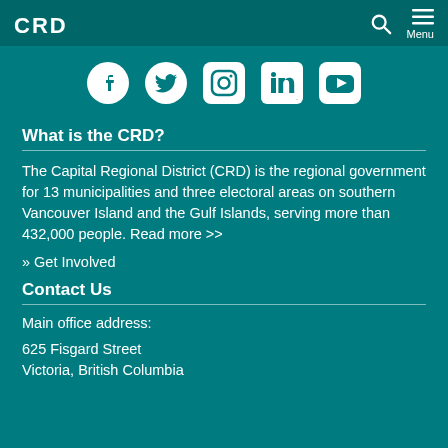CRD | Menu
[Figure (other): Social media icons: Facebook, Twitter, Instagram, LinkedIn, YouTube]
What is the CRD?
The Capital Regional District (CRD) is the regional government for 13 municipalities and three electoral areas on southern Vancouver Island and the Gulf Islands, serving more than 432,000 people. Read more >>
» Get Involved
Contact Us
Main office address:
625 Fisgard Street
Victoria, British Columbia